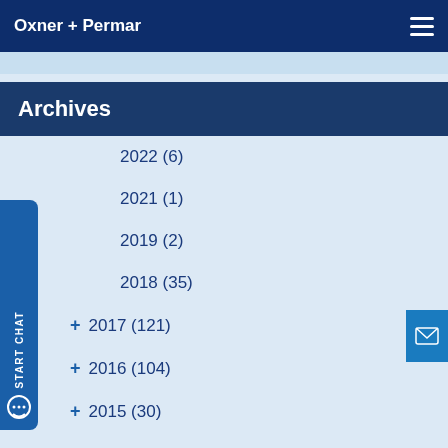Oxner + Permar
Archives
2022 (6)
2021 (1)
2019 (2)
2018 (35)
+ 2017 (121)
+ 2016 (104)
+ 2015 (30)
+ 2014 (31)